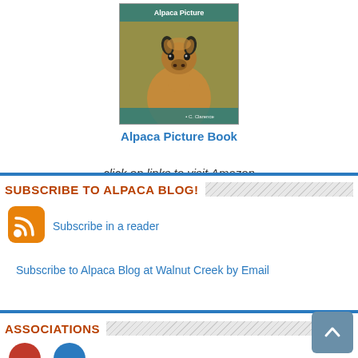[Figure (photo): Book cover of Alpaca Picture Book showing a close-up of an alpaca face]
Alpaca Picture Book
click on links to visit Amazon
SUBSCRIBE TO ALPACA BLOG!
[Figure (logo): RSS feed orange icon]
Subscribe in a reader
Subscribe to Alpaca Blog at Walnut Creek by Email
ASSOCIATIONS